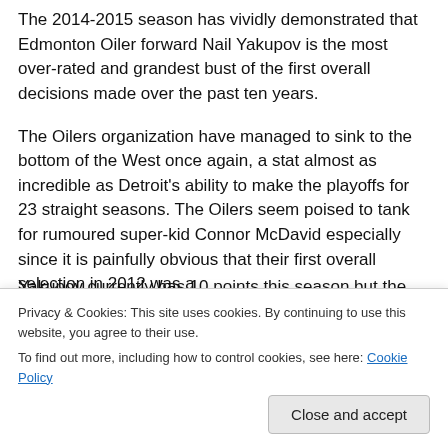The 2014-2015 season has vividly demonstrated that Edmonton Oiler forward Nail Yakupov is the most over-rated and grandest bust of the first overall decisions made over the past ten years.
The Oilers organization have managed to sink to the bottom of the West once again, a stat almost as incredible as Detroit's ability to make the playoffs for 23 straight seasons. The Oilers seem poised to tank for rumoured super-kid Connor McDavid especially since it is painfully obvious that their first overall selection in 2012 was a [dreadful...]
Yakupov currently has 10 points this season but the
Privacy & Cookies: This site uses cookies. By continuing to use this website, you agree to their use.
To find out more, including how to control cookies, see here: Cookie Policy